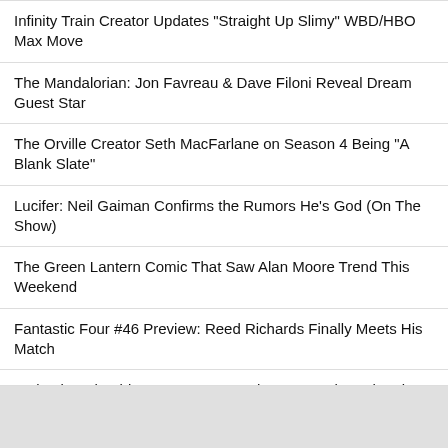Infinity Train Creator Updates "Straight Up Slimy" WBD/HBO Max Move
The Mandalorian: Jon Favreau & Dave Filoni Reveal Dream Guest Star
The Orville Creator Seth MacFarlane on Season 4 Being "A Blank Slate"
Lucifer: Neil Gaiman Confirms the Rumors He's God (On The Show)
The Green Lantern Comic That Saw Alan Moore Trend This Weekend
Fantastic Four #46 Preview: Reed Richards Finally Meets His Match
Wolverine Should Not Be Logan In The MCU, When The Time Comes
[Figure (other): Gray placeholder box at bottom of page]